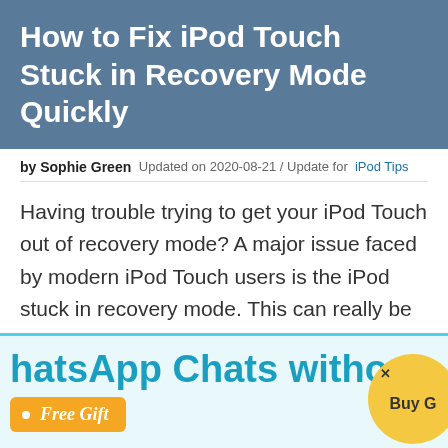How to Fix iPod Touch Stuck in Recovery Mode Quickly
by Sophie Green  Updated on 2020-08-21 / Update for  iPod Tips
Having trouble trying to get your iPod Touch out of recovery mode? A major issue faced by modern iPod Touch users is the iPod stuck in recovery mode. This can really be a prominent blow for new iPod Touch customers. However, messing around with your iPod Touch and trying to restore it
[Figure (other): Advertisement banner for WhatsApp Chats with 'Free Gift' badge and 'Buy' button]